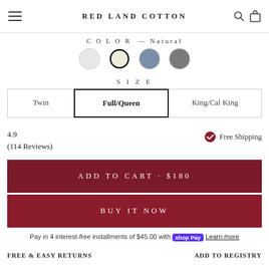RED LAND COTTON
COLOR — Natural
[Figure (illustration): Four circular color swatches: light grey, natural/cream (selected with bold border), dusty blue, and grey]
SIZE
Twin   Full/Queen (selected)   King/Cal King
4.9
(114 Reviews)
Free Shipping
ADD TO CART · $180
BUY IT NOW
Pay in 4 interest-free installments of $45.00 with shop Pay Learn more
FREE & EASY RETURNS
ADD TO REGISTRY